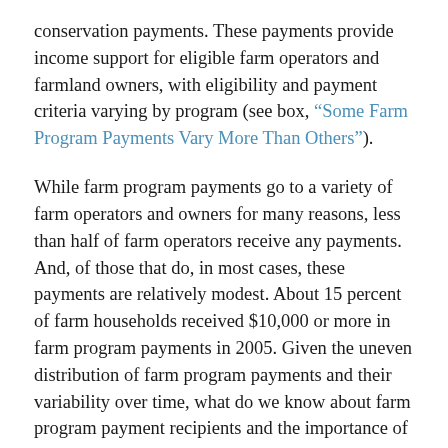conservation payments. These payments provide income support for eligible farm operators and farmland owners, with eligibility and payment criteria varying by program (see box, “Some Farm Program Payments Vary More Than Others”).
While farm program payments go to a variety of farm operators and owners for many reasons, less than half of farm operators receive any payments. And, of those that do, in most cases, these payments are relatively modest. About 15 percent of farm households received $10,000 or more in farm program payments in 2005. Given the uneven distribution of farm program payments and their variability over time, what do we know about farm program payment recipients and the importance of these payments to their business operations and household well-being?
While program payments can have sector-wide effects